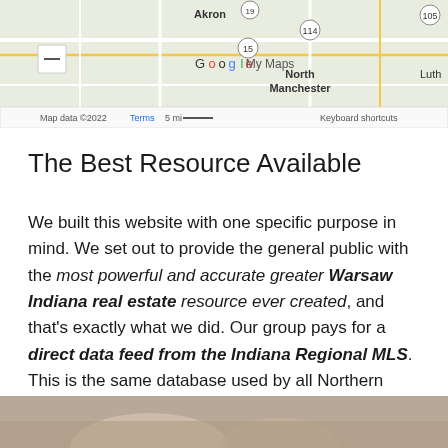[Figure (map): Google My Maps screenshot showing area around North Manchester, Indiana with roads, town labels including Akron, Liberty Mills, North Manchester, route numbers 114, 19, 15, 105. Map data ©2022, Terms, 5 mi scale bar, Keyboard shortcuts shown at bottom.]
The Best Resource Available
We built this website with one specific purpose in mind. We set out to provide the general public with the most powerful and accurate greater Warsaw Indiana real estate resource ever created, and that's exactly what we did. Our group pays for a direct data feed from the Indiana Regional MLS. This is the same database used by all Northern Indiana Realtors. We then pass this information directly onto the consumer.
[Figure (photo): Partial photo at bottom of page showing hands, appears to be a real estate related image.]